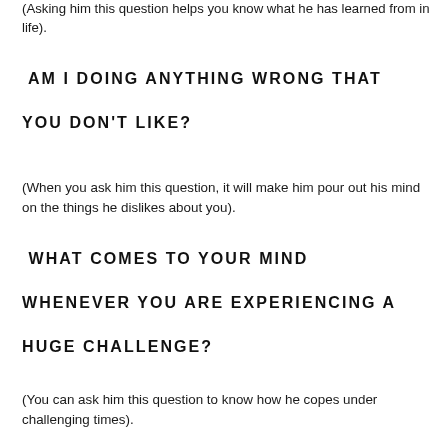(Asking him this question helps you know what he has learned from in life).
AM I DOING ANYTHING WRONG THAT YOU DON'T LIKE?
(When you ask him this question, it will make him pour out his mind on the things he dislikes about you).
WHAT COMES TO YOUR MIND WHENEVER YOU ARE EXPERIENCING A HUGE CHALLENGE?
(You can ask him this question to know how he copes under challenging times).